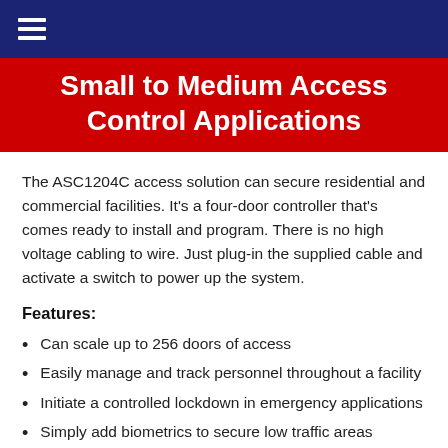Small to Medium Access Control Applications
The ASC1204C access solution can secure residential and commercial facilities. It's a four-door controller that's comes ready to install and program. There is no high voltage cabling to wire. Just plug-in the supplied cable and activate a switch to power up the system.
Features:
Can scale up to 256 doors of access
Easily manage and track personnel throughout a facility
Initiate a controlled lockdown in emergency applications
Simply add biometrics to secure low traffic areas
Combine with a Delaware...